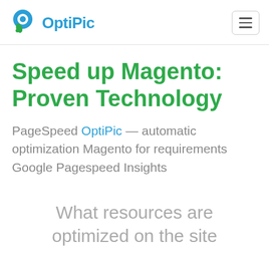OptiPic
Speed up Magento: Proven Technology
PageSpeed OptiPic — automatic optimization Magento for requirements Google Pagespeed Insights
What resources are optimized on the site